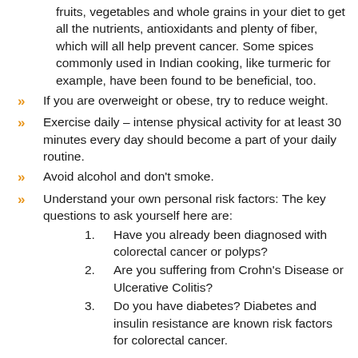fruits, vegetables and whole grains in your diet to get all the nutrients, antioxidants and plenty of fiber, which will all help prevent cancer. Some spices commonly used in Indian cooking, like turmeric for example, have been found to be beneficial, too.
If you are overweight or obese, try to reduce weight.
Exercise daily – intense physical activity for at least 30 minutes every day should become a part of your daily routine.
Avoid alcohol and don't smoke.
Understand your own personal risk factors: The key questions to ask yourself here are:
1. Have you already been diagnosed with colorectal cancer or polyps?
2. Are you suffering from Crohn's Disease or Ulcerative Colitis?
3. Do you have diabetes? Diabetes and insulin resistance are known risk factors for colorectal cancer.